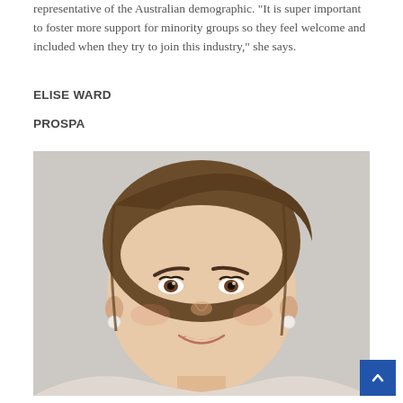representative of the Australian demographic. “It is super important to foster more support for minority groups so they feel welcome and included when they try to join this industry,” she says.
ELISE WARD
PROSPA
[Figure (photo): Headshot photo of Elise Ward, a woman with brown/blonde hair pulled back, wearing pearl earrings, smiling, against a white brick wall background.]